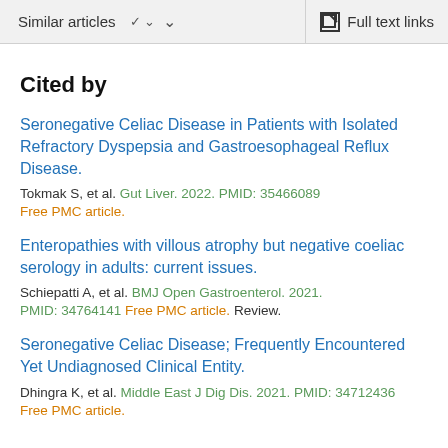Similar articles  ∨    Full text links
Cited by
Seronegative Celiac Disease in Patients with Isolated Refractory Dyspepsia and Gastroesophageal Reflux Disease.
Tokmak S, et al. Gut Liver. 2022. PMID: 35466089
Free PMC article.
Enteropathies with villous atrophy but negative coeliac serology in adults: current issues.
Schiepatti A, et al. BMJ Open Gastroenterol. 2021.
PMID: 34764141 Free PMC article. Review.
Seronegative Celiac Disease; Frequently Encountered Yet Undiagnosed Clinical Entity.
Dhingra K, et al. Middle East J Dig Dis. 2021. PMID: 34712436
Free PMC article.